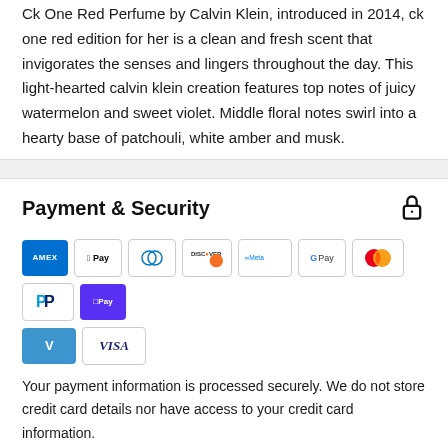Ck One Red Perfume by Calvin Klein, introduced in 2014, ck one red edition for her is a clean and fresh scent that invigorates the senses and lingers throughout the day. This light-hearted calvin klein creation features top notes of juicy watermelon and sweet violet. Middle floral notes swirl into a hearty base of patchouli, white amber and musk.
Payment & Security
[Figure (other): Payment method icons: AMEX, Apple Pay, Diners Club, Discover, Meta Pay, Google Pay, Mastercard, PayPal, Shop Pay, Venmo, Visa]
Your payment information is processed securely. We do not store credit card details nor have access to your credit card information.